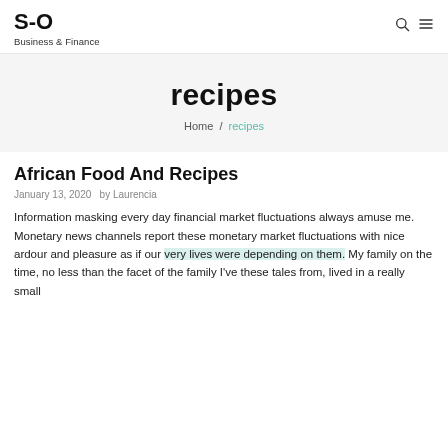S-O  Business & Finance
recipes
Home / recipes
African Food And Recipes
January 13, 2020  by Laurencia
Information masking every day financial market fluctuations always amuse me. Monetary news channels report these monetary market fluctuations with nice ardour and pleasure as if our very lives were depending on them. My family on the time, no less than the facet of the family I've these tales from, lived in a really small